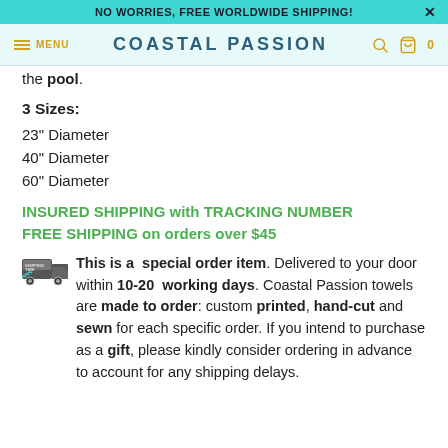NO WORRIES, FREE WORLDWIDE SHIPPING!
COASTAL PASSION
the pool.
3 Sizes:
23" Diameter
40" Diameter
60" Diameter
INSURED SHIPPING with TRACKING NUMBER
FREE SHIPPING on orders over $45
This is a special order item. Delivered to your door within 10-20 working days. Coastal Passion towels are made to order: custom printed, hand-cut and sewn for each specific order. If you intend to purchase as a gift, please kindly consider ordering in advance to account for any shipping delays.